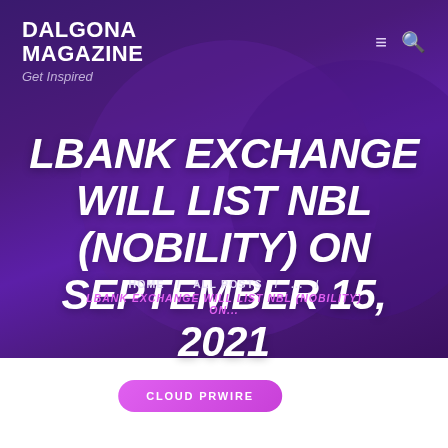DALGONA MAGAZINE
Get Inspired
LBANK EXCHANGE WILL LIST NBL (NOBILITY) ON SEPTEMBER 15, 2021
HOME / ALL POSTS / ... / LBANK EXCHANGE WILL LIST NBL (NOBILITY) ON...
CLOUD PRWIRE